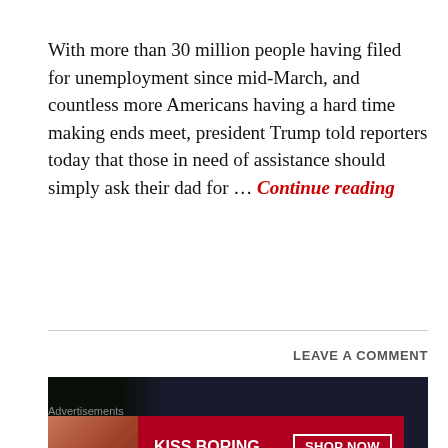With more than 30 million people having filed for unemployment since mid-March, and countless more Americans having a hard time making ends meet, president Trump told reporters today that those in need of assistance should simply ask their dad for … Continue reading
LEAVE A COMMENT
[Figure (photo): A blurred/dark image showing a military cap on the left and faint handwritten or typed document text in the background.]
Advertisements
[Figure (infographic): Macy's advertisement banner: red background with text 'KISS BORING LIPS GOODBYE', a SHOP NOW button with a star, macy's branding, and a model photo.]